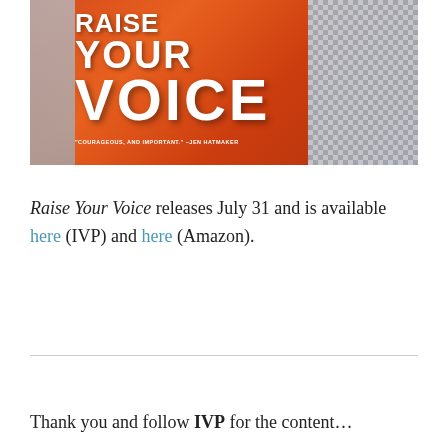[Figure (photo): Photo of the book 'Raise Your Voice' with an orange cover featuring large white text. The book is set against a blue-and-white checkered fabric background. A quote from Jen Hatmaker is visible at the bottom of the cover referencing 'courageous and important'.]
Raise Your Voice releases July 31 and is available here (IVP) and here (Amazon).
Thank you and follow IVP for the content...